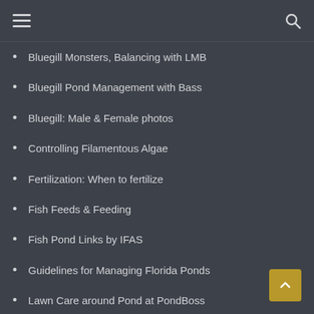Navigation menu with hamburger icon and search icon
Bluegill Monsters, Balancing with LMB
Bluegill Pond Management with Bass
Bluegill: Male & Female photos
Controlling Filamentous Algae
Fertilization: When to fertilize
Fish Feeds & Feeding
Fish Pond Links by IFAS
Guidelines for Managing Florida Ponds
Lawn Care around Pond at PondBoss
Liming Acidified Lakes and Ponds
Managing & Controlling Algae in Ponds
Managing Florida Ponds for Fishing
Managing MS Ponds
Mngt of Farm Ponds in Louisiana
Plant Management in FL Waters
Plantings for Wildlife
Pond Plant Species by TAMU